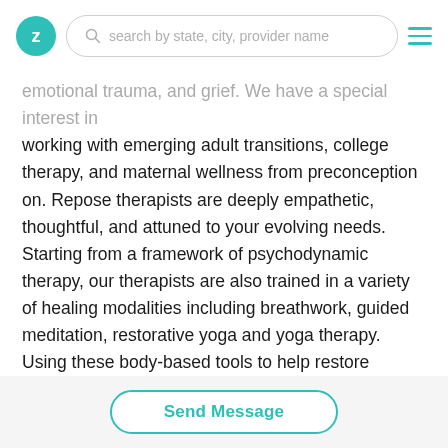Z | search by state, city, provider name | menu
emotional trauma, and grief. We have a special interest in working with emerging adult transitions, college therapy, and maternal wellness from preconception on. Repose therapists are deeply empathetic, thoughtful, and attuned to your evolving needs. Starting from a framework of psychodynamic therapy, our therapists are also trained in a variety of healing modalities including breathwork, guided meditation, restorative yoga and yoga therapy. Using these body-based tools to help restore balance to the nervous system, we are able to work through symptoms of emotional trauma, anxiety, depression, chronic stress, and more.
Send Message